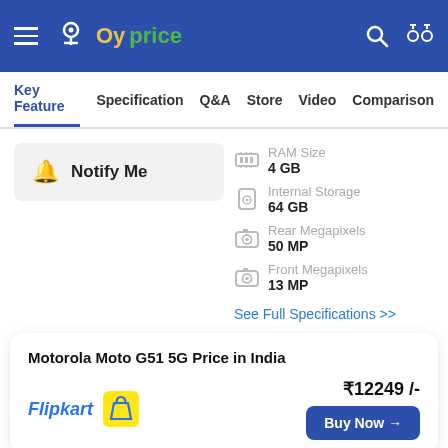Oyprice
Key Feature  Specification  Q&A  Store  Video  Comparison
Notify Me
RAM Size
4 GB
Internal Storage
64 GB
Rear Megapixels
50 MP
Front Megapixels
13 MP
See Full Specifications >>
Motorola Moto G51 5G Price in India
Flipkart  ₹12249 /-  Buy Now →